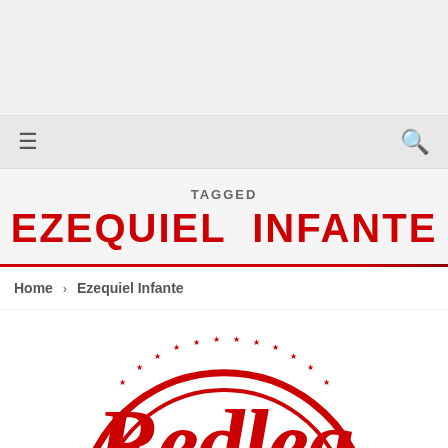≡  🔍
TAGGED
EZEQUIEL INFANTE
Home > Ezequiel Infante
[Figure (logo): Redleg logo — red circular badge with stars and script 'Redleg' text]